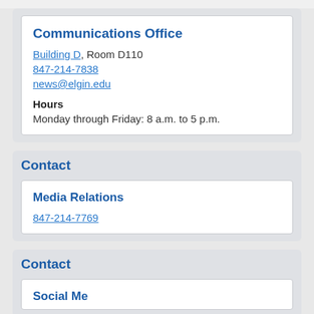Communications Office
Building D, Room D110
847-214-7838
news@elgin.edu
Hours
Monday through Friday: 8 a.m. to 5 p.m.
Contact
Media Relations
847-214-7769
Contact